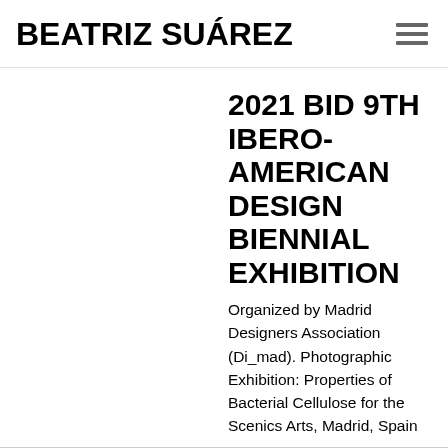BEATRIZ SUÁREZ
2021 BID 9TH IBERO-AMERICAN DESIGN BIENNIAL EXHIBITION
Organized by Madrid Designers Association (Di_mad). Photographic Exhibition: Properties of Bacterial Cellulose for the Scenics Arts, Madrid, Spain